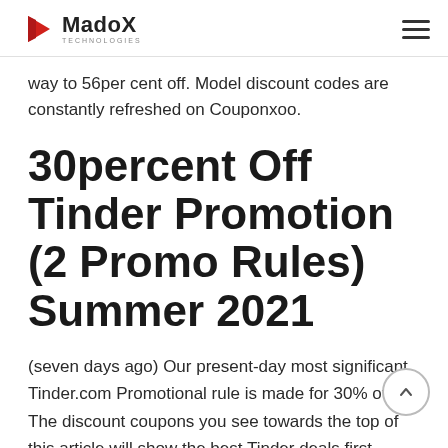MadoX Technologies
way to 56per cent off. Model discount codes are constantly refreshed on Couponxoo.
30percent Off Tinder Promotion (2 Promo Rules) Summer 2021
(seven days ago) Our present-day most significant Tinder.com Promotional rule is made for 30% off. The discount coupons you see towards the top of this article will show the best Tinder deals first. Normally, the number one rules happen to be “store-wide” opportunities you can use on any get at